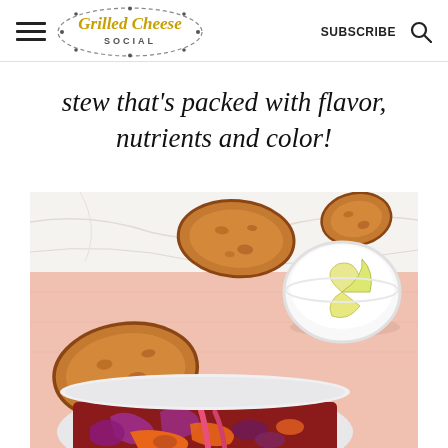Grilled Cheese Social | SUBSCRIBE
stew that's packed with flavor, nutrients and color!
[Figure (photo): Overhead food photo showing a white bowl of colorful vegetable stew with red cabbage, carrots, and other vegetables, alongside slices of toasted bread and a small white bowl with lemon wedges, on a pink surface]